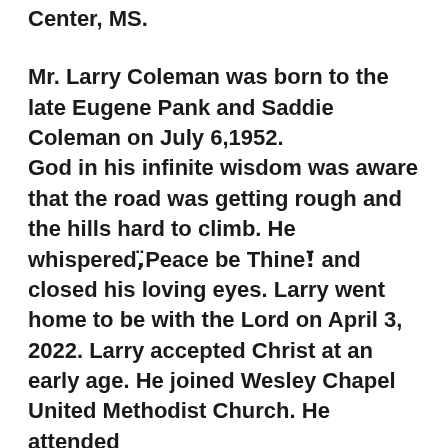Center, MS. Mr. Larry Coleman was born to the late Eugene Pank and Saddie Coleman on July 6,1952. God in his infinite wisdom was aware that the road was getting rough and the hills hard to climb. He whispered,¨Peace be Thine!¨ and closed his loving eyes. Larry went home to be with the Lord on April 3, 2022. Larry accepted Christ at an early age. He joined Wesley Chapel United Methodist Church. He attended